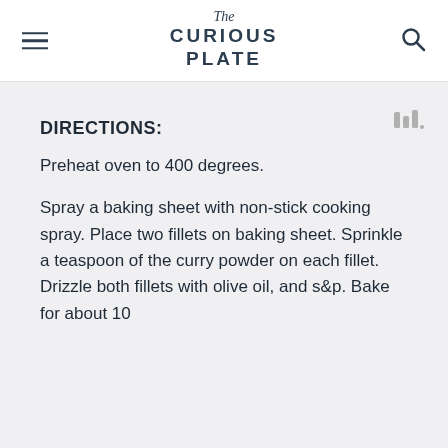The Curious Plate
DIRECTIONS:
Preheat oven to 400 degrees.
Spray a baking sheet with non-stick cooking spray. Place two fillets on baking sheet. Sprinkle a teaspoon of the curry powder on each fillet. Drizzle both fillets with olive oil, and s&p. Bake for about 10